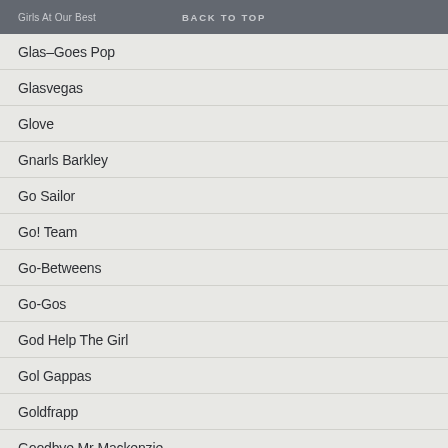Girls At Our Best  BACK TO TOP
Glas–Goes Pop
Glasvegas
Glove
Gnarls Barkley
Go Sailor
Go! Team
Go-Betweens
Go-Gos
God Help The Girl
Gol Gappas
Goldfrapp
Goodbye Mr Mackenzie